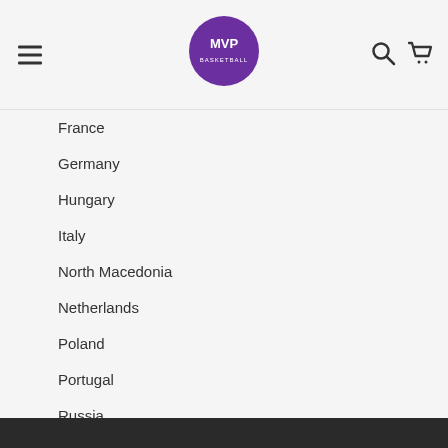MVP Basketball — navigation header with hamburger menu, logo, search and cart icons
France
Germany
Hungary
Italy
North Macedonia
Netherlands
Poland
Portugal
Russia
Scotland
Switzerland
Slovakia
Sweden
Turkey
Ukraine
Wales